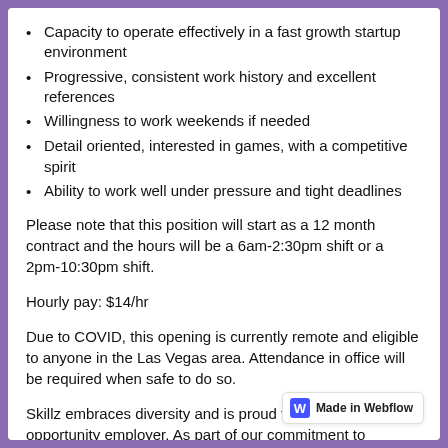Capacity to operate effectively in a fast growth startup environment
Progressive, consistent work history and excellent references
Willingness to work weekends if needed
Detail oriented, interested in games, with a competitive spirit
Ability to work well under pressure and tight deadlines
Please note that this position will start as a 12 month contract and the hours will be a 6am-2:30pm shift or a 2pm-10:30pm shift.
Hourly pay: $14/hr
Due to COVID, this opening is currently remote and eligible to anyone in the Las Vegas area. Attendance in office will be required when safe to do so.
Skillz embraces diversity and is proud to be an equal opportunity employer. As part of our commitment to diversifying our workforce, we do not discri... basis of age, race, sex, gender, gender identity, ...